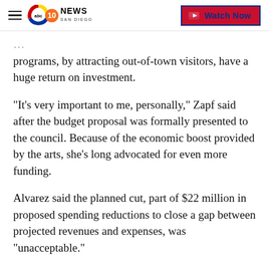ABC 10News San Diego | Watch Now
…programs, by attracting out-of-town visitors, have a huge return on investment.
"It's very important to me, personally," Zapf said after the budget proposal was formally presented to the council. Because of the economic boost provided by the arts, she's long advocated for even more funding.
Alvarez said the planned cut, part of $22 million in proposed spending reductions to close a gap between projected revenues and expenses, was "unacceptable."
"I certainly won't be supporting a budget that makes